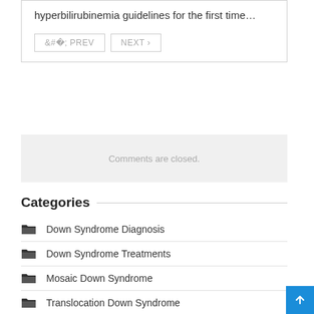hyperbilirubinemia guidelines for the first time…
‹ PREV   NEXT ›
Comments are closed.
Categories
Down Syndrome Diagnosis
Down Syndrome Treatments
Mosaic Down Syndrome
Translocation Down Syndrome